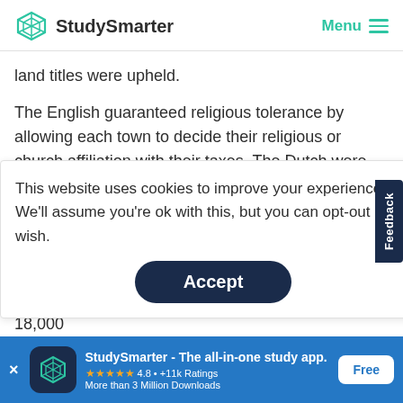[Figure (logo): StudySmarter logo with teal geometric diamond icon and text]
StudySmarter   Menu
land titles were upheld.
The English guaranteed religious tolerance by allowing each town to decide their religious or church affiliation with their taxes. The Dutch were also allowed to keep
This website uses cookies to improve your experience. We'll assume you're ok with this, but you can opt-out if you wish.
Accept
on the colony. Its population grew slowly, reaching 18,000
StudySmarter - The all-in-one study app.
★★★★★  4.8 • +11k Ratings
More than 3 Million Downloads
Free